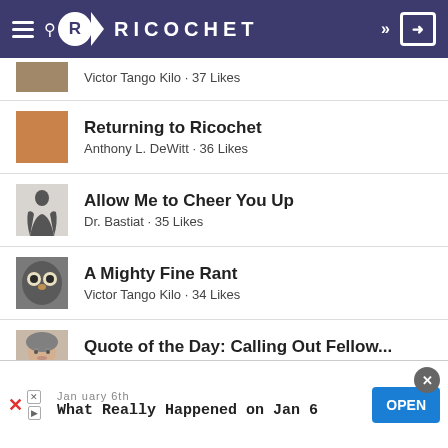Ricochet
Victor Tango Kilo · 37 Likes
Returning to Ricochet
Anthony L. DeWitt · 36 Likes
Allow Me to Cheer You Up
Dr. Bastiat · 35 Likes
A Mighty Fine Rant
Victor Tango Kilo · 34 Likes
Quote of the Day: Calling Out Fellow...
Susan Quinn · 30 Likes
January 6th
What Really Happened on Jan 6
OPEN